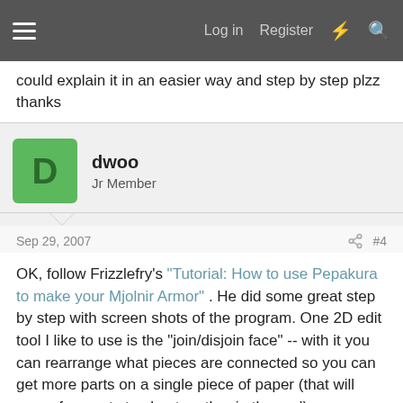Log in   Register
could explain it in an easier way and step by step plzz thanks
dwoo
Jr Member
Sep 29, 2007   #4
OK, follow Frizzlefry's "Tutorial: How to use Pepakura to make your Mjolnir Armor" . He did some great step by step with screen shots of the program. One 2D edit tool I like to use is the "join/disjoin face" -- with it you can rearrange what pieces are connected so you can get more parts on a single piece of paper (that will mean few parts to glue together in the end)

Check out the "Official pepakura scaling thread" I posted some scale tables on the last page that might get you rolling.

Start with a simple piece like the thigh armor. You will have to adjust the scale to fit your body. Know that you won't use the